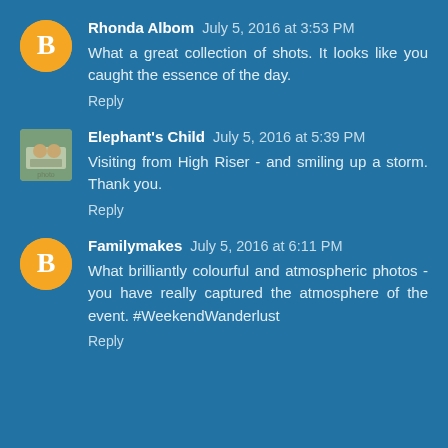Rhonda Albom July 5, 2016 at 3:53 PM
What a great collection of shots. It looks like you caught the essence of the day.
Reply
Elephant's Child July 5, 2016 at 5:39 PM
Visiting from High Riser - and smiling up a storm. Thank you.
Reply
Familymakes July 5, 2016 at 6:11 PM
What brilliantly colourful and atmospheric photos - you have really captured the atmosphere of the event. #WeekendWanderlust
Reply